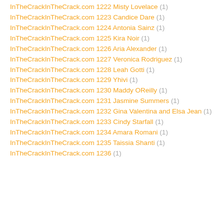InTheCrackInTheCrack.com 1222 Misty Lovelace (1)
InTheCrackInTheCrack.com 1223 Candice Dare (1)
InTheCrackInTheCrack.com 1224 Antonia Sainz (1)
InTheCrackInTheCrack.com 1225 Kira Noir (1)
InTheCrackInTheCrack.com 1226 Aria Alexander (1)
InTheCrackInTheCrack.com 1227 Veronica Rodriguez (1)
InTheCrackInTheCrack.com 1228 Leah Gotti (1)
InTheCrackInTheCrack.com 1229 Yhivi (1)
InTheCrackInTheCrack.com 1230 Maddy OReilly (1)
InTheCrackInTheCrack.com 1231 Jasmine Summers (1)
InTheCrackInTheCrack.com 1232 Gina Valentina and Elsa Jean (1)
InTheCrackInTheCrack.com 1233 Cindy Starfall (1)
InTheCrackInTheCrack.com 1234 Amara Romani (1)
InTheCrackInTheCrack.com 1235 Taissia Shanti (1)
InTheCrackInTheCrack.com 1236 … (1)